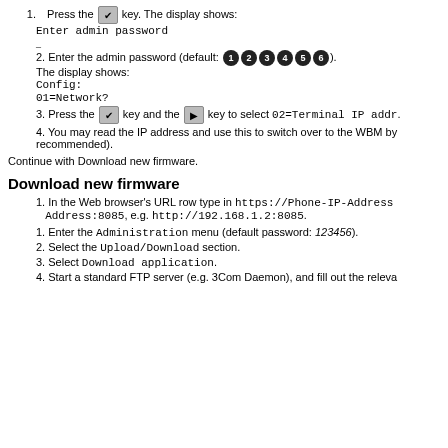1. Press the [check] key. The display shows: Enter admin password
2. Enter the admin password (default: 1 2 3 4 5 6). The display shows: Config: 01=Network?
3. Press the [check] key and the [arrow] key to select 02=Terminal IP addr.
4. You may read the IP address and use this to switch over to the WBM by recommended).
Continue with Download new firmware.
Download new firmware
1. In the Web browser's URL row type in https://Phone-IP-Address:8085, e.g. http://192.168.1.2:8085.
1. Enter the Administration menu (default password: 123456).
2. Select the Upload/Download section.
3. Select Download application.
4. Start a standard FTP server (e.g. 3Com Daemon), and fill out the releva